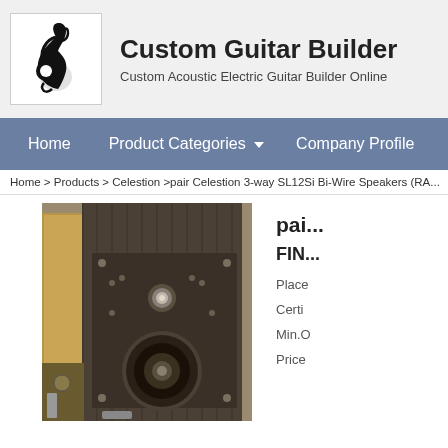[Figure (logo): Custom Guitar Builder logo: stylized treble clef / guitar figure in black on white background]
Custom Guitar Builder
Custom Acoustic Electric Guitar Builder Online
Home   Product Categories ▾   Company Profile
Home > Products > Celestion >pair Celestion 3-way SL12Si Bi-Wire Speakers (RA...
[Figure (photo): Photo of Celestion 3-way SL12Si Bi-Wire speakers, dark cabinet with metallic driver detail]
pai...
FIN...
Place
Certi
Min.O
Price